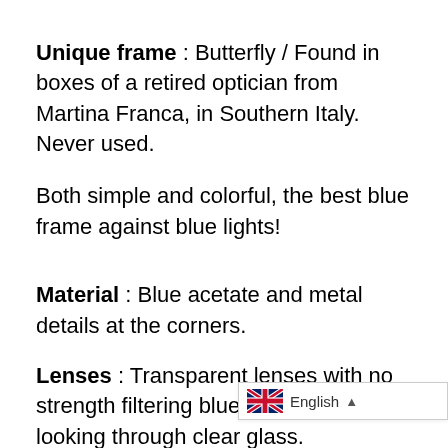Unique frame : Butterfly / Found in boxes of a retired optician from Martina Franca, in Southern Italy. Never used.
Both simple and colorful, the best blue frame against blue lights!
Material : Blue acetate and metal details at the corners.
Lenses : Transparent lenses with no strength filtering blue light - Feels like looking through clear glass.